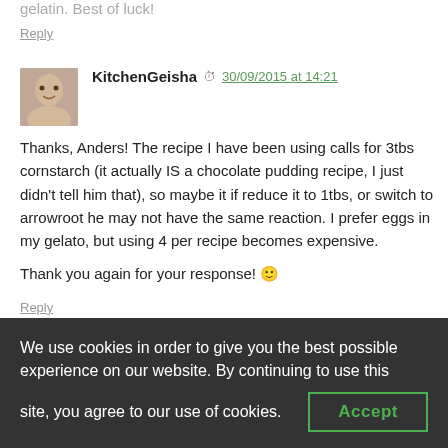gelatin. Best of luck!
Reply
KitchenGeisha  30/09/2015 at 14:21
Thanks, Anders! The recipe I have been using calls for 3tbs cornstarch (it actually IS a chocolate pudding recipe, I just didn't tell him that), so maybe it if reduce it to 1tbs, or switch to arrowroot he may not have the same reaction. I prefer eggs in my gelato, but using 4 per recipe becomes expensive.

Thank you again for your response! 🙂
Reply
Tan  02/11/2015 at 15:31
We use cookies in order to give you the best possible experience on our website. By continuing to use this site, you agree to our use of cookies.
Accept